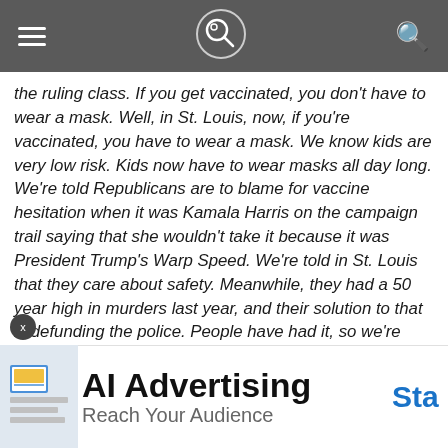Navigation bar with hamburger menu, logo, and search icon
the ruling class. If you get vaccinated, you don't have to wear a mask. Well, in St. Louis, now, if you're vaccinated, you have to wear a mask. We know kids are very low risk. Kids now have to wear masks all day long. We're told Republicans are to blame for vaccine hesitation when it was Kamala Harris on the campaign trail saying that she wouldn't take it because it was President Trump's Warp Speed. We're told in St. Louis that they care about safety. Meanwhile, they had a 50 year high in murders last year, and their solution to that is defunding the police. People have had it, so we're filing a lawsuit because of arbitrary capriciousness not based on facts, not based on science. In fact, St. Louis City and St. Louis County had the most restrictive regimes in the whole state, and their numbers were worse than counties that didn't have any restrictions
[Figure (other): AI Advertising banner ad with thumbnail image, headline 'AI Advertising', subtext 'Reach Your Audience', and 'Sta' CTA button visible on right]